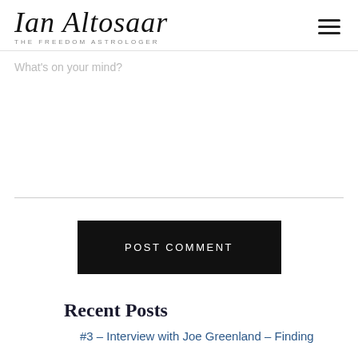Ian Altosaar – THE FREEDOM ASTROLOGER
What's on your mind?
POST COMMENT
Recent Posts
#3 – Interview with Joe Greenland – Finding